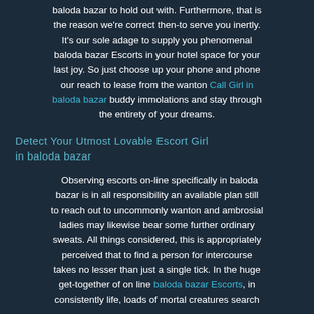baloda bazar to hold out with. Furthermore, that is the reason we're correct then-to serve you inertly. It's our sole adage to supply you phenomenal baloda bazar Escorts in your hotel space for your last joy. So just choose up your phone and phone our reach to lease from the wanton Call Girl in baloda bazar buddy immolations and stay through the entirety of your dreams.
Detect Your Utmost Lovable Escort Girl in baloda bazar
Observing escorts on-line specifically in baloda bazar is in all responsibility an available plan still to reach out to uncommonly wanton and ambrosial ladies may likewise bear some further ordinary sweats. All things considered, this is appropriately perceived that to find a person for intercourse takes no lesser than just a single tick. In the huge get-together of on line baloda bazar Escorts, in consistently life, loads of mortal creatures search